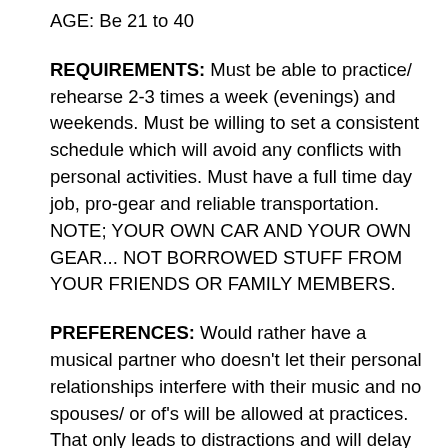AGE: Be 21 to 40
REQUIREMENTS: Must be able to practice/ rehearse 2-3 times a week (evenings) and weekends. Must be willing to set a consistent schedule which will avoid any conflicts with personal activities. Must have a full time day job, pro-gear and reliable transportation. NOTE; YOUR OWN CAR AND YOUR OWN GEAR... NOT BORROWED STUFF FROM YOUR FRIENDS OR FAMILY MEMBERS.
PREFERENCES: Would rather have a musical partner who doesn't let their personal relationships interfere with their music and no spouses/ or of's will be allowed at practices. That only leads to distractions and will delay us from meeting our deadlines and being